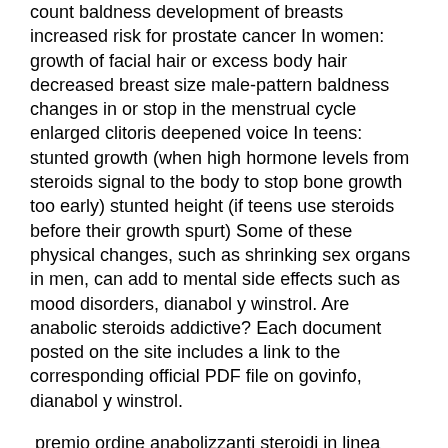count baldness development of breasts increased risk for prostate cancer In women: growth of facial hair or excess body hair decreased breast size male-pattern baldness changes in or stop in the menstrual cycle enlarged clitoris deepened voice In teens: stunted growth (when high hormone levels from steroids signal to the body to stop bone growth too early) stunted height (if teens use steroids before their growth spurt) Some of these physical changes, such as shrinking sex organs in men, can add to mental side effects such as mood disorders, dianabol y winstrol. Are anabolic steroids addictive? Each document posted on the site includes a link to the corresponding official PDF file on govinfo, dianabol y winstrol.
premio ordine anabolizzanti steroidi in linea cykel.